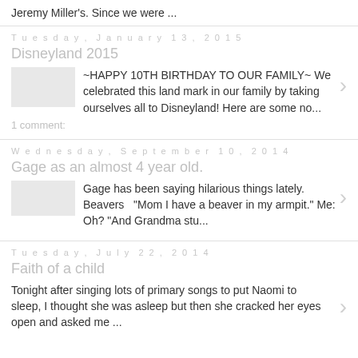Jeremy Miller's. Since we were ...
Tuesday, January 13, 2015
Disneyland 2015
~HAPPY 10TH BIRTHDAY TO OUR FAMILY~ We celebrated this land mark in our family by taking ourselves all to Disneyland! Here are some no...
1 comment:
Wednesday, September 10, 2014
Gage as an almost 4 year old.
Gage has been saying hilarious things lately. Beavers  "Mom I have a beaver in my armpit." Me: Oh? "And Grandma stu...
Tuesday, July 22, 2014
Faith of a child
Tonight after singing lots of primary songs to put Naomi to sleep, I thought she was asleep but then she cracked her eyes open and asked me ...